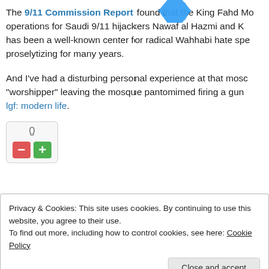The 9/11 Commission Report found that the King Fahd Mosque facilitated operations for Saudi 9/11 hijackers Nawaf al Hazmi and K... has been a well-known center for radical Wahhabi hate speech and proselytizing for many years.
And I've had a disturbing personal experience at that mosque... a "worshipper" leaving the mosque pantomimed firing a gun... lgf: modern life.
Vote count: 0
Ahaall! THAT mosque!
Privacy & Cookies: This site uses cookies. By continuing to use this website, you agree to their use. To find out more, including how to control cookies, see here: Cookie Policy
Close and accept